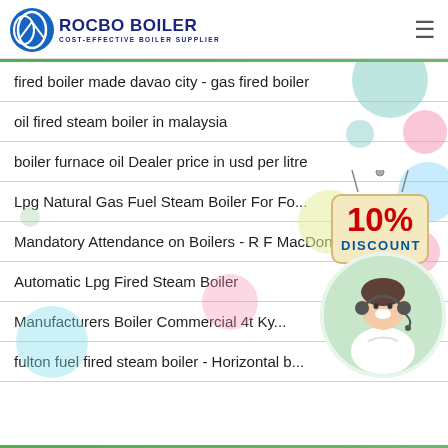ROCBO BOILER - COST-EFFECTIVE BOILER SUPPLIER
fired boiler made davao city - gas fired boiler
oil fired steam boiler in malaysia
boiler furnace oil Dealer price in usd per litre
Lpg Natural Gas Fuel Steam Boiler For Fo...
Mandatory Attendance on Boilers - R F MacDonald Co...
Automatic Lpg Fired Steam Boiler
Manufacturers Boiler Commercial 4t Ky...
fulton fuel fired steam boiler - Horizontal b...
[Figure (illustration): Decorative colorful bubbles, a 10% discount sign board, and a customer service representative in a circle overlay on the right side of the page.]